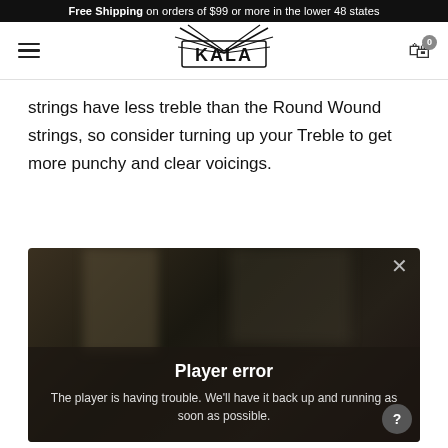Free Shipping on orders of $99 or more in the lower 48 states
[Figure (logo): Kala brand logo with decorative text and palm leaf design]
strings have less treble than the Round Wound strings, so consider turning up your Treble to get more punchy and clear voicings.
[Figure (screenshot): Video player showing 'Player error' overlay with message: The player is having trouble. We'll have it back up and running as soon as possible.]